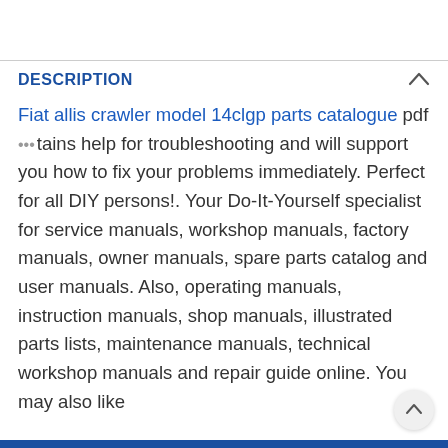DESCRIPTION
Fiat allis crawler model 14clgp parts catalogue pdf contains help for troubleshooting and will support you how to fix your problems immediately. Perfect for all DIY persons!. Your Do-It-Yourself specialist for service manuals, workshop manuals, factory manuals, owner manuals, spare parts catalog and user manuals. Also, operating manuals, instruction manuals, shop manuals, illustrated parts lists, maintenance manuals, technical workshop manuals and repair guide online. You may also like